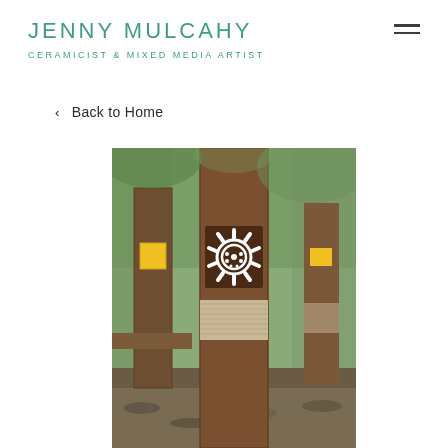JENNY MULCAHY
CERAMICIST & MIXED MEDIA ARTIST
< Back to Home
[Figure (photo): Outdoor art installation featuring tall dark wooden posts/totems in a garden or bush setting. The central post has a ceramic tile with a white sun/wheel motif with dots in the center, a yellow ceramic square tile, and a wrapped section of natural fiber/jute. Other posts in the background also feature yellow ceramic tiles. Leaf litter and green trees visible in background.]